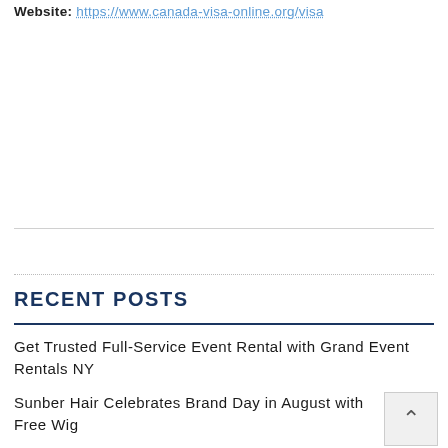Website: https://www.canada-visa-online.org/visa
RECENT POSTS
Get Trusted Full-Service Event Rental with Grand Event Rentals NY
Sunber Hair Celebrates Brand Day in August with Free Wig